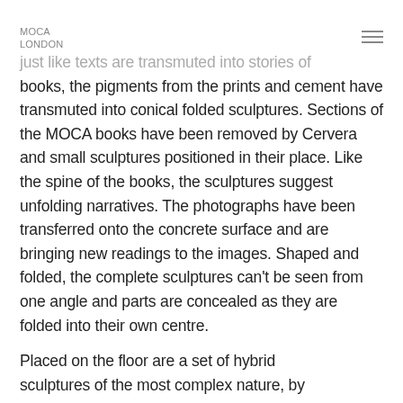MOCA LONDON
just like texts are transmuted into stories of books, the pigments from the prints and cement have transmuted into conical folded sculptures. Sections of the MOCA books have been removed by Cervera and small sculptures positioned in their place. Like the spine of the books, the sculptures suggest unfolding narratives. The photographs have been transferred onto the concrete surface and are bringing new readings to the images. Shaped and folded, the complete sculptures can't be seen from one angle and parts are concealed as they are folded into their own centre.
Placed on the floor are a set of hybrid sculptures of the most complex nature, by